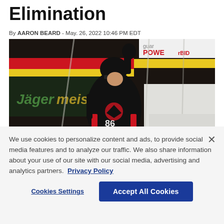Elimination
By AARON BEARD - May. 26, 2022 10:46 PM EDT
[Figure (photo): Carolina Hurricanes player #86 in black jersey celebrating with fist raised, against the boards with Jägermeister and GuardianBid PowerBid arena advertisements visible]
We use cookies to personalize content and ads, to provide social media features and to analyze our traffic. We also share information about your use of our site with our social media, advertising and analytics partners. Privacy Policy
Cookies Settings    Accept All Cookies